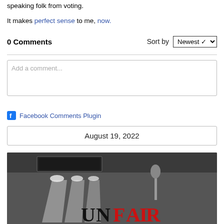speaking folk from voting.
It makes perfect sense to me, now.
0 Comments  Sort by Newest
Add a comment...
Facebook Comments Plugin
August 19, 2022
[Figure (illustration): Black and white illustration showing spotlights and the word UNFAIR with U and N in black serif font and FAIR in bold red letters on a dark stage background]